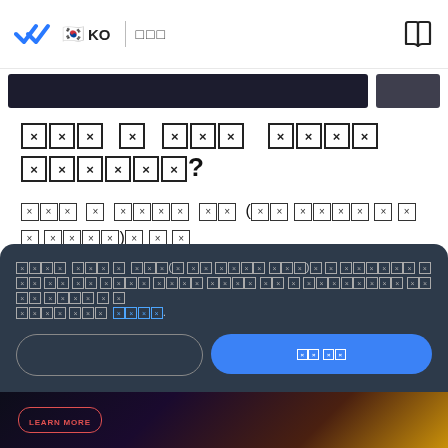KO [Korean language app screenshot header with logo, flag, language selector, and book icon]
[Figure (screenshot): Dark banner/progress bar area below header]
[Korean text - unreadable broken characters] ?
[Korean body text with broken/unrenderable characters and a blue underlined link]
[Tooltip popup with Korean text, blue link, cancel button, and confirm button]
[Figure (photo): Bottom strip showing a dark scene with LEARN MORE button overlay]